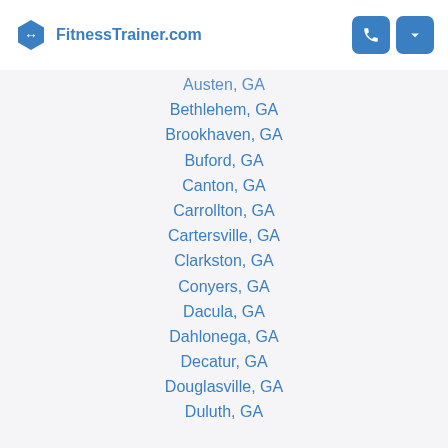FitnessTrainer.com
Austen, GA
Bethlehem, GA
Brookhaven, GA
Buford, GA
Canton, GA
Carrollton, GA
Cartersville, GA
Clarkston, GA
Conyers, GA
Dacula, GA
Dahlonega, GA
Decatur, GA
Douglasville, GA
Duluth, GA
Gresham Park, GA
Hampton, GA
Johns Creek, GA
Jonesboro, GA
Kennesaw, GA